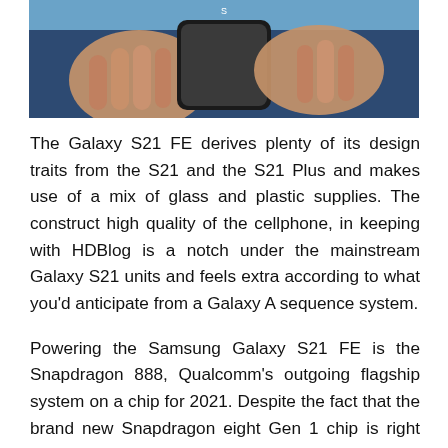[Figure (photo): Partial photo of a person's hands holding a smartphone, with a blue/teal background visible. Only the bottom portion of the image is shown.]
The Galaxy S21 FE derives plenty of its design traits from the S21 and the S21 Plus and makes use of a mix of glass and plastic supplies. The construct high quality of the cellphone, in keeping with HDBlog is a notch under the mainstream Galaxy S21 units and feels extra according to what you'd anticipate from a Galaxy A sequence system.
Powering the Samsung Galaxy S21 FE is the Snapdragon 888, Qualcomm's outgoing flagship system on a chip for 2021. Despite the fact that the brand new Snapdragon eight Gen 1 chip is right here, the SD 888 remains to be a really highly effective SoC for a tool prone to be positioned as an inexpensive flagship. The unit showcased within the video will get 6GB of RAM and 128GB storage. Likelihood is, we